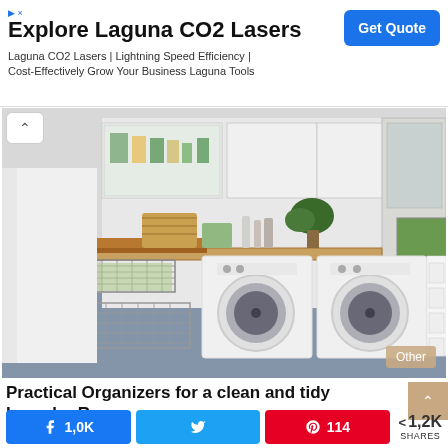Explore Laguna CO2 Lasers
Laguna CO2 Lasers | Lightning Speed Efficiency | Cost-Effectively Grow Your Business Laguna Tools
[Get Quote]
[Figure (photo): Organized laundry room with white cabinets, shelving, washer and dryer, hanging clothes rod, wicker baskets, and green towels on blue carpet flooring.]
Practical Organizers for a clean and tidy Laundry Room
1,0K  [Twitter bird]  114  < 1,2K SHARES